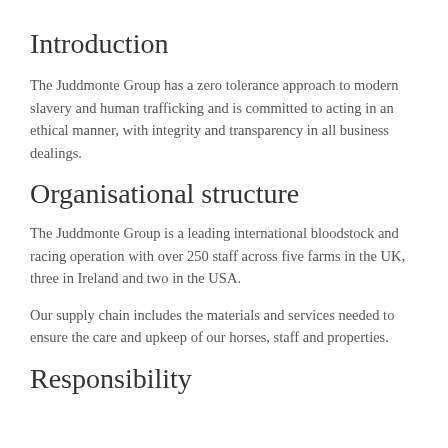Introduction
The Juddmonte Group has a zero tolerance approach to modern slavery and human trafficking and is committed to acting in an ethical manner, with integrity and transparency in all business dealings.
Organisational structure
The Juddmonte Group is a leading international bloodstock and racing operation with over 250 staff across five farms in the UK, three in Ireland and two in the USA.
Our supply chain includes the materials and services needed to ensure the care and upkeep of our horses, staff and properties.
Responsibility